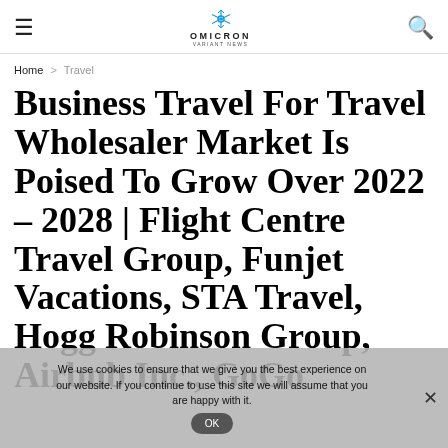Omicron Variant News
Home > Travel
Business Travel For Travel Wholesaler Market Is Poised To Grow Over 2022 – 2028 | Flight Centre Travel Group, Funjet Vacations, STA Travel, Hogg Robinson Group, Airbnb Inc., GoGo
We use cookies to ensure that we give you the best experience on our website. If you continue to use this site we will assume that you are happy with it. OK